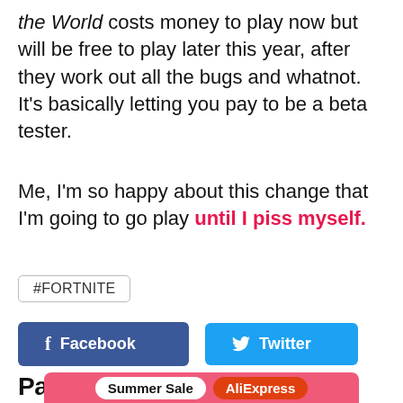the World costs money to play now but will be free to play later this year, after they work out all the bugs and whatnot. It's basically letting you pay to be a beta tester.
Me, I'm so happy about this change that I'm going to go play until I piss myself.
#FORTNITE
Facebook
Twitter
Partner highlights
[Figure (other): AliExpress Summer Sale advertisement banner in pink/red with white Summer Sale pill and orange AliExpress pill]